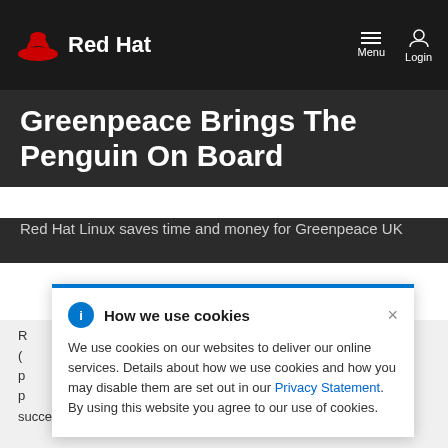Red Hat — Menu Login
Greenpeace Brings The Penguin On Board
Red Hat Linux saves time and money for Greenpeace UK
How we use cookies
We use cookies on our websites to deliver our online services. Details about how we use cookies and how you may disable them are set out in our Privacy Statement. By using this website you agree to our use of cookies.
Red Hat, Inc. (... open source and Linux p... K, the UK p... oup, has successfully migrated its operation-critical fundraising systems in the UK from a Windows platform...